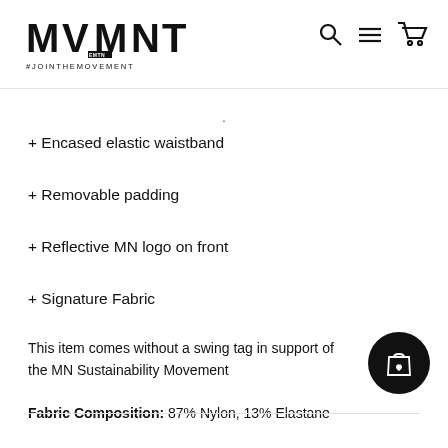[Figure (logo): MVMNT logo with EMTN subtitle and #JOINTHEMOVEMENT hashtag]
[Figure (illustration): Navigation icons: search, hamburger menu, shopping cart]
+ Encased elastic waistband
+ Removable padding
+ Reflective MN logo on front
+ Signature Fabric
This item comes without a swing tag in support of the MN Sustainability Movement
Fabric Composition: 87% Nylon, 13% Elastane
[Figure (illustration): Floating action button with shopping bag and heart icon]